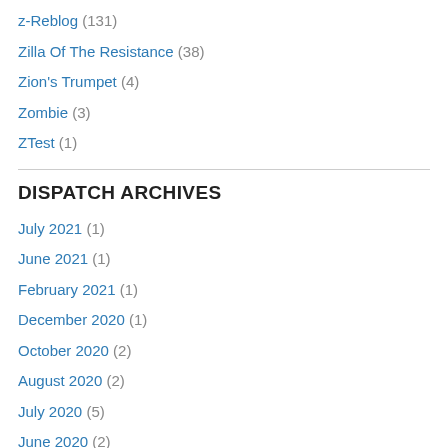z-Reblog (131)
Zilla Of The Resistance (38)
Zion's Trumpet (4)
Zombie (3)
ZTest (1)
DISPATCH ARCHIVES
July 2021 (1)
June 2021 (1)
February 2021 (1)
December 2020 (1)
October 2020 (2)
August 2020 (2)
July 2020 (5)
June 2020 (2)
May 2020 (2)
April 2020 (3)
March 2020 (16)